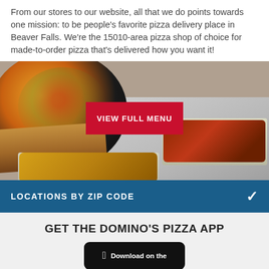From our stores to our website, all that we do points towards one mission: to be people's favorite pizza delivery place in Beaver Falls. We're the 15010-area pizza shop of choice for made-to-order pizza that's delivered how you want it!
[Figure (photo): Food photo showing a Domino's pizza, sandwich, chicken wings, and potato bites on a table surface, with a red 'VIEW FULL MENU' button overlaid in the center]
LOCATIONS BY ZIP CODE
GET THE DOMINO'S PIZZA APP
[Figure (screenshot): Black rounded button with Apple logo icon and text 'Download on the']